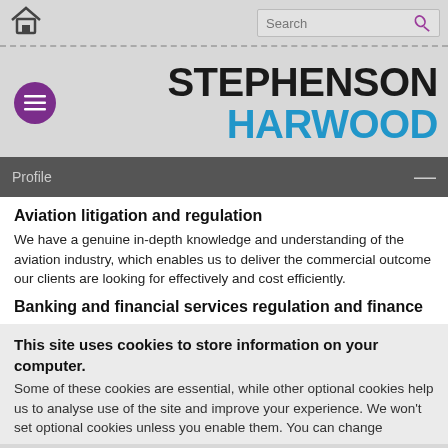[Figure (screenshot): Top navigation bar with home icon on left, search box with key icon on right]
[Figure (logo): Stephenson Harwood law firm logo with purple menu button]
Profile —
Aviation litigation and regulation
We have a genuine in-depth knowledge and understanding of the aviation industry, which enables us to deliver the commercial outcome our clients are looking for effectively and cost efficiently.
Banking and financial services regulation and finance
This site uses cookies to store information on your computer. Some of these cookies are essential, while other optional cookies help us to analyse use of the site and improve your experience. We won't set optional cookies unless you enable them. You can change